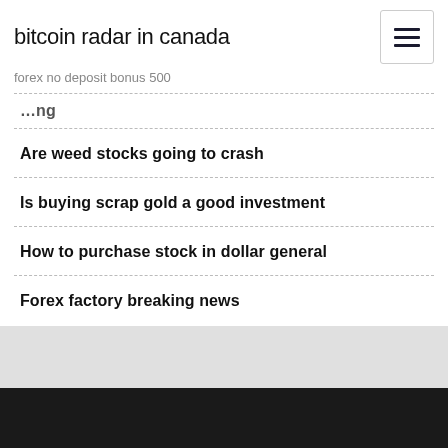bitcoin radar in canada
forex no deposit bonus 500
Are weed stocks going to crash
Is buying scrap gold a good investment
How to purchase stock in dollar general
Forex factory breaking news
Top Stories